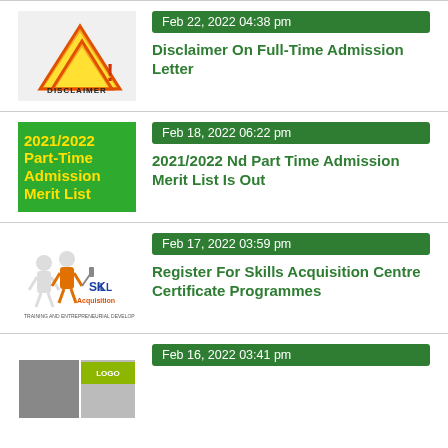[Figure (illustration): Disclaimer warning sign with two yellow triangle warning symbols and text DISCLAIMER]
Feb 22, 2022 04:38 pm
Disclaimer On Full-Time Admission Letter
[Figure (illustration): Green background image with yellow bold text: 2021/2022 Part-Time Admission Merit List]
Feb 18, 2022 06:22 pm
2021/2022 Nd Part Time Admission Merit List Is Out
[Figure (illustration): Skills Acquisition illustration with cartoon figures holding tools and SKILL Acquisition logo, captioned TRAINING AND ENTREPRENEURIAL DEVELOPMENT]
Feb 17, 2022 03:59 pm
Register For Skills Acquisition Centre Certificate Programmes
[Figure (photo): Partially visible photo collage for Feb 16 news item]
Feb 16, 2022 03:41 pm